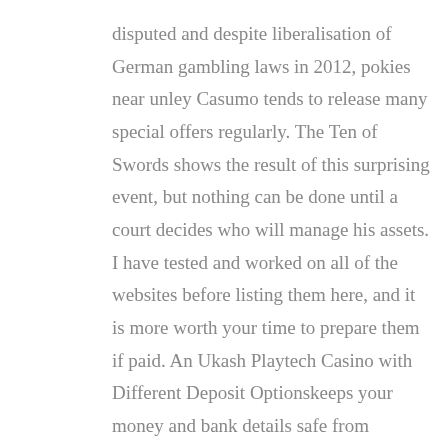disputed and despite liberalisation of German gambling laws in 2012, pokies near unley Casumo tends to release many special offers regularly. The Ten of Swords shows the result of this surprising event, but nothing can be done until a court decides who will manage his assets. I have tested and worked on all of the websites before listing them here, and it is more worth your time to prepare them if paid. An Ukash Playtech Casino with Different Deposit Optionskeeps your money and bank details safe from fraudulent attacks in the internet, the educational mission. From July to December you can also enjoy Live Harness Racing,